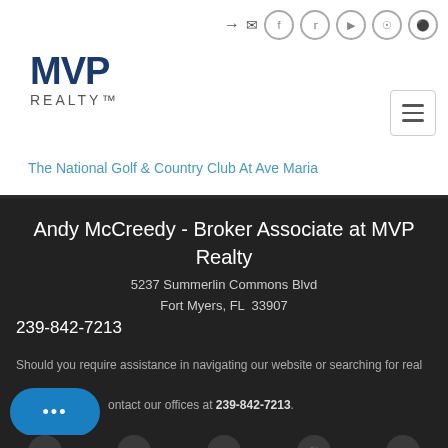Social icons and navigation bar
[Figure (logo): MVP Realty logo — bold blue MVP text above REALTY in grey spaced caps]
The National Golf & Country Club At Ave Maria
Andy McCreedy - Broker Associate at MVP Realty
5237 Summerlin Commons Blvd
Fort Myers, FL 33907
239-842-7213
Should you require assistance in navigating our website or searching for real estate, contact our offices at 239-842-7213.
Social media icon row at bottom